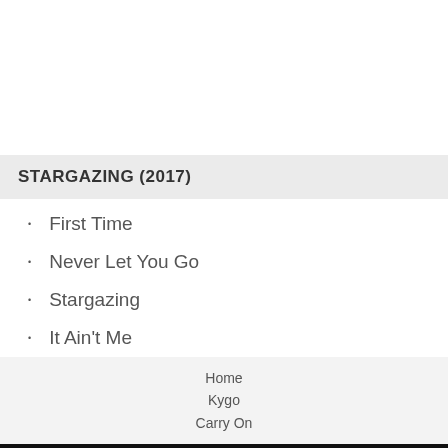STARGAZING (2017)
First Time
Never Let You Go
Stargazing
It Ain't Me
Home
Kygo
Carry On
[Figure (logo): Google+ logo button with red circle containing 'g+' icon and white text 'Google +' on black background]